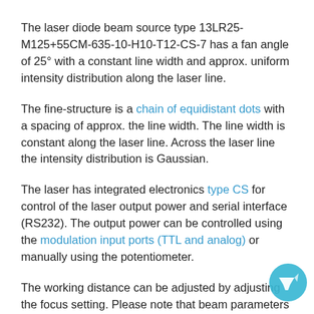The laser diode beam source type 13LR25-M125+55CM-635-10-H10-T12-CS-7 has a fan angle of 25° with a constant line width and approx. uniform intensity distribution along the laser line.
The fine-structure is a chain of equidistant dots with a spacing of approx. the line width. The line width is constant along the laser line. Across the laser line the intensity distribution is Gaussian.
The laser has integrated electronics type CS for control of the laser output power and serial interface (RS232). The output power can be controlled using the modulation input ports (TTL and analog) or manually using the potentiometer.
The working distance can be adjusted by adjusting the focus setting. Please note that beam parameters like line length and line width increase proportionally to the working distance.